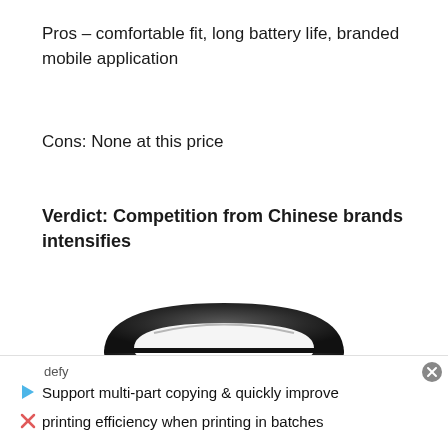Pros – comfortable fit, long battery life, branded mobile application
Cons: None at this price
Verdict: Competition from Chinese brands intensifies
[Figure (photo): Dark-colored fitness tracker / smart band shown from above, partially cropped at bottom of image]
defy
Support multi-part copying & quickly improve printing efficiency when printing in batches